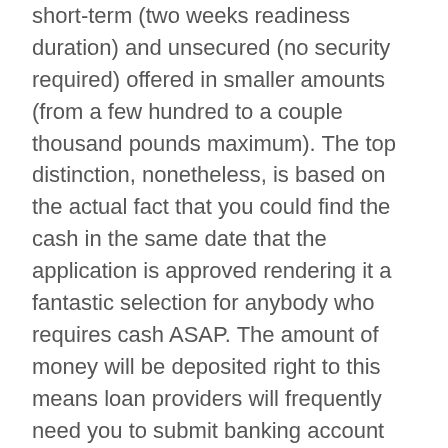short-term (two weeks readiness duration) and unsecured (no security required) offered in smaller amounts (from a few hundred to a couple thousand pounds maximum). The top distinction, nonetheless, is based on the actual fact that you could find the cash in the same date that the application is approved rendering it a fantastic selection for anybody who requires cash ASAP. The amount of money will be deposited right to this means loan providers will frequently need you to submit banking account details in the job.
Despite the general rate and convenience they still come with the same interest rates and repayments terms as any other short-term, unsecured loan that you can enjoy with these loans. Getting your cash eventually, but, simply makes it be noticed on the list of sleep. And with the development of technology, you are able to avail for this loan solely online aided by the capability of or phone that